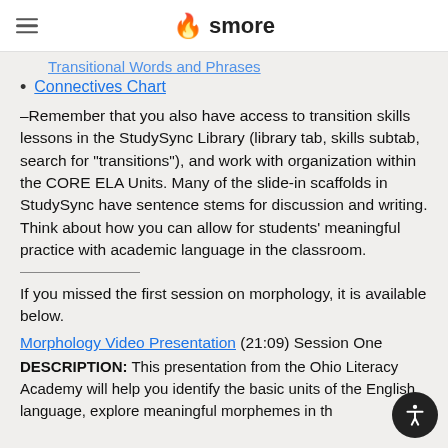smore
Transitional Words and Phrases
Connectives Chart
–Remember that you also have access to transition skills lessons in the StudySync Library (library tab, skills subtab, search for "transitions"), and work with organization within the CORE ELA Units. Many of the slide-in scaffolds in StudySync have sentence stems for discussion and writing. Think about how you can allow for students' meaningful practice with academic language in the classroom.
If you missed the first session on morphology, it is available below.
Morphology Video Presentation (21:09) Session One
DESCRIPTION: This presentation from the Ohio Literacy Academy will help you identify the basic units of the English language, explore meaningful morphemes in th...